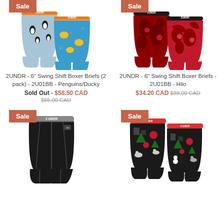[Figure (photo): 2UNDR 6-inch Swing Shift Boxer Briefs 2-pack in Penguins and Ducky patterns with orange waistband, shown as product photo with Sale badge]
[Figure (photo): 2UNDR 6-inch Swing Shift Boxer Briefs in red and black Hilo floral pattern, shown as product photo with Sale badge]
2UNDR - 6" Swing Shift Boxer Briefs (2 pack) - 2U01BB - Penguins/Ducky
Sold Out - $58.50 CAD $65.00 CAD
2UNDR - 6" Swing Shift Boxer Briefs - 2U01BB - Hilo
$34.20 CAD $38.00 CAD
[Figure (photo): 2UNDR 6-inch Swing Shift Boxer Briefs in solid black with grey stitching detail, shown as product photo with Sale badge]
[Figure (photo): 2UNDR 6-inch Swing Shift Boxer Briefs in Christmas themed black/red/white pattern, shown as product photo with Sale badge]